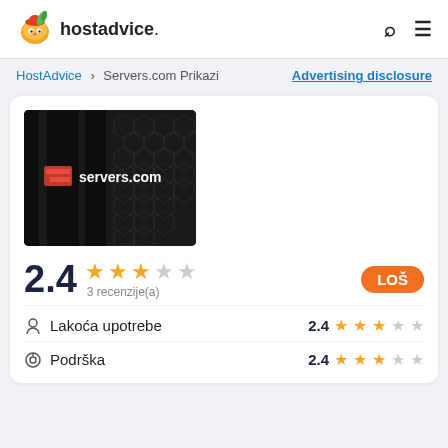hostadvice.
HostAdvice > Servers.com Prikazi    Advertising disclosure
[Figure (screenshot): Servers.com logo on dark server rack background]
2.4  ★★½☆☆  3 recenzije(a)   LOŠ
Lakoća upotrebe   2.4 ★★½☆☆
Podrška   2.4 ★★½☆☆